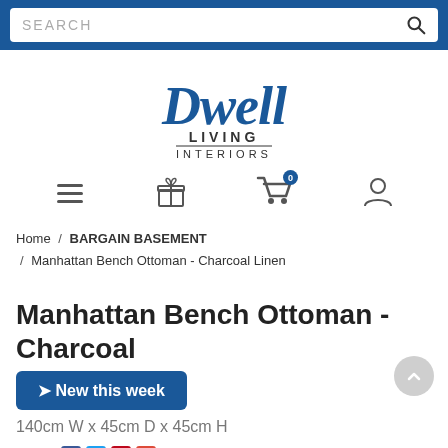SEARCH
[Figure (logo): Dwell Living Interiors logo in blue script and sans-serif text]
[Figure (infographic): Navigation icons: hamburger menu, gift, shopping cart with badge 0, user profile]
Home / BARGAIN BASEMENT / Manhattan Bench Ottoman - Charcoal Linen
Manhattan Bench Ottoman - Charcoal
[Figure (infographic): Blue badge button reading: arrow New this week]
140cm W x 45cm D x 45cm H
Share: [Facebook] [Twitter] [Pinterest] [Google+] ▾